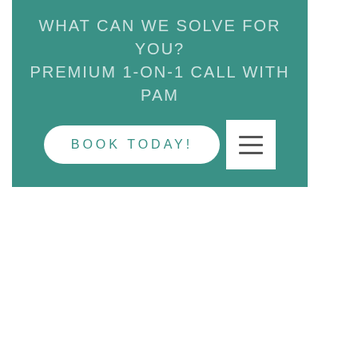WHAT CAN WE SOLVE FOR YOU? PREMIUM 1-ON-1 CALL WITH PAM
[Figure (other): A teal/green banner with two lines of white text reading 'WHAT CAN WE SOLVE FOR YOU?' and 'PREMIUM 1-ON-1 CALL WITH PAM', a white pill-shaped 'BOOK TODAY!' button, and a white hamburger menu icon button]